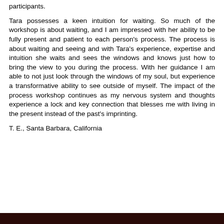participants.
Tara possesses a keen intuition for waiting. So much of the workshop is about waiting, and I am impressed with her ability to be fully present and patient to each person's process. The process is about waiting and seeing and with Tara's experience, expertise and intuition she waits and sees the windows and knows just how to bring the view to you during the process. With her guidance I am able to not just look through the windows of my soul, but experience a transformative ability to see outside of myself. The impact of the process workshop continues as my nervous system and thoughts experience a lock and key connection that blesses me with living in the present instead of the past's imprinting.
T. E., Santa Barbara, California